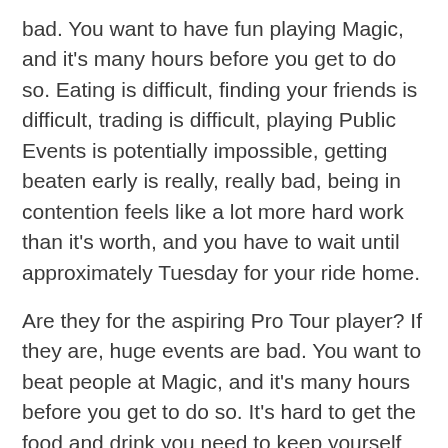bad. You want to have fun playing Magic, and it's many hours before you get to do so. Eating is difficult, finding your friends is difficult, trading is difficult, playing Public Events is potentially impossible, getting beaten early is really, really bad, being in contention feels like a lot more hard work than it's worth, and you have to wait until approximately Tuesday for your ride home.
Are they for the aspiring Pro Tour player? If they are, huge events are bad. You want to beat people at Magic, and it's many hours before you get to do so. It's hard to get the food and drink you need to keep yourself mentally refreshed and alert, you have to play your best Magic at 10.30pm just to reach a Day 2 with hundreds of players still left, and even if you accomplish all this, you have a vanishingly small chance of making the Top 16, which automatically qualifies you for a forthcoming Pro Tour, which was the whole reason you trekked across Europe in the first place.